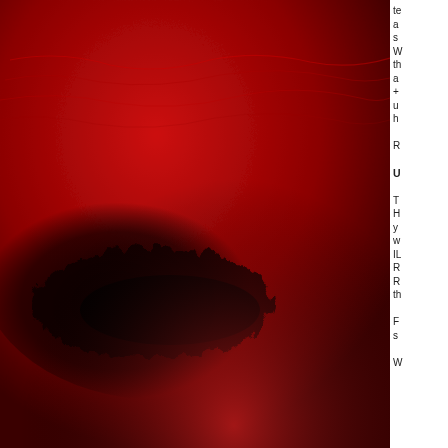[Figure (photo): Close-up photograph of a red textured surface, possibly leather or lacquered material, with a dark black region spreading across the lower-center area suggesting damage, staining, or an irregular dark pattern against the vivid red background.]
[Figure (logo): Blogger logo: orange circle with white letter B]
te a s W th a + u h R U T H y w IL R R th F s W